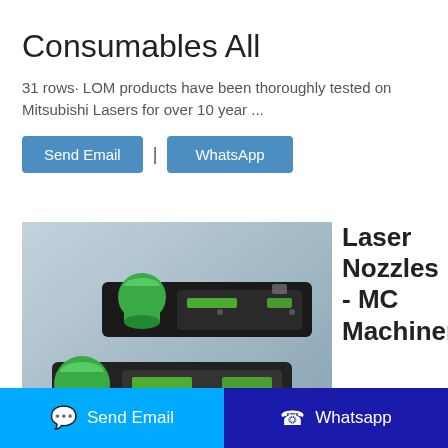Consumables All
31 rows· LOM products have been thoroughly tested on Mitsubishi Lasers for over 10 year ...
Send Email | WhatsApp
[Figure (photo): Two laser nozzle assemblies with green cylindrical connectors and black housings, watermarked with AURORA LAS text]
Laser Nozzles - MC Machinery
Send Email
Whatsapp